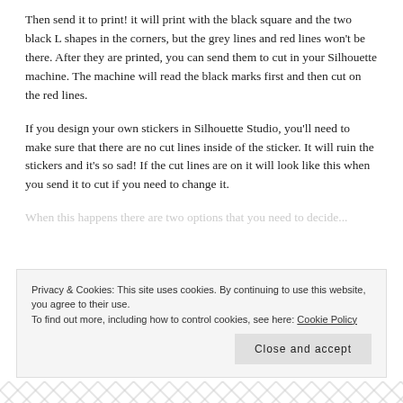Then send it to print! it will print with the black square and the two black L shapes in the corners, but the grey lines and red lines won't be there. After they are printed, you can send them to cut in your Silhouette machine. The machine will read the black marks first and then cut on the red lines.
If you design your own stickers in Silhouette Studio, you'll need to make sure that there are no cut lines inside of the sticker. It will ruin the stickers and it's so sad! If the cut lines are on it will look like this when you send it to cut if you need to change it.
When this happens...
Privacy & Cookies: This site uses cookies. By continuing to use this website, you agree to their use.
To find out more, including how to control cookies, see here: Cookie Policy